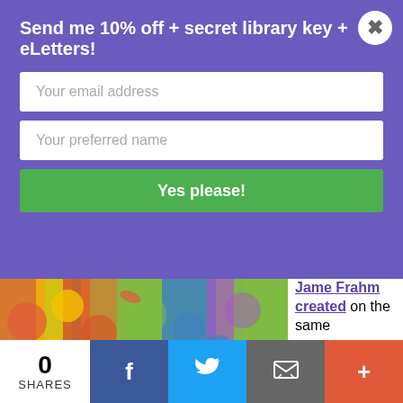Send me 10% off + secret library key + eLetters!
Your email address
Your preferred name
Yes please!
Jame Frahm created on the same themes, including wonderful glass bead birds and flower earrings for the Frida challenge.
This picture has been popular as a card and a print. Which bold soul wants the original to enhance their happy home?
89 – Gloria's Patterns
Say the title
0 SHARES